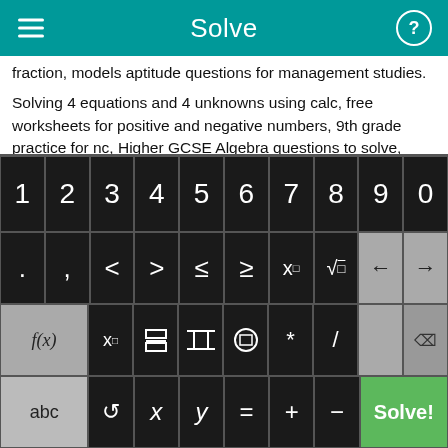Solve
fraction, models aptitude questions for management studies.
Solving 4 equations and 4 unknowns using calc, free worksheets for positive and negative numbers, 9th grade practice for nc, Higher GCSE Algebra questions to solve, algebra daily worksheet.
Solve multiplication of fractions, Math Methods Trial Examination 1 free, square roots with fractions, parabola standard form to vertex form.
[Figure (screenshot): On-screen math keyboard with number row (1-0), symbol row (. , < > ≤ ≥ x□ √□ ← →), function row (f(x) x□ fraction |□| (□) * / delete), and bottom row (abc ↺ x y = + − Solve!)]